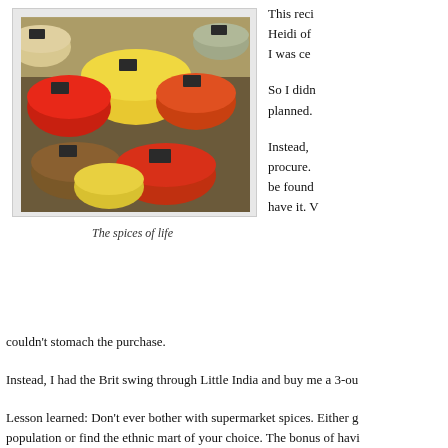[Figure (photo): Overhead photo of multiple bowls filled with colorful spices (red, yellow, orange, brown tones) at a spice market, with small chalkboard labels in the bowls.]
The spices of life
This reci Heidi of I was ce
So I didn planned.
Instead, procure. be found have it. V couldn't stomach the purchase.
Instead, I had the Brit swing through Little India and buy me a 3-ou
Lesson learned: Don't ever bother with supermarket spices. Either g population or find the ethnic mart of your choice. The bonus of havi giant bags of spices cheap, mango chutney, Basmati rice by the ton
I digress. These cinnamon buns are my second foray into yeasty thi